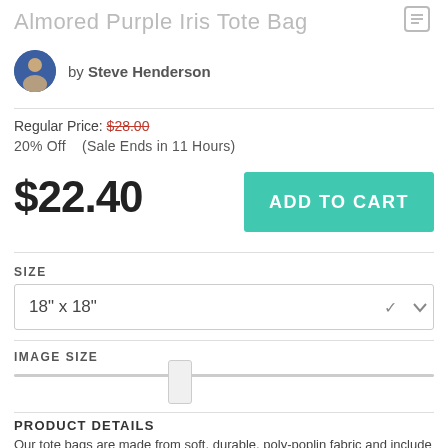Almored Purple Iris Tote Bag
by Steve Henderson
Regular Price: $28.00
20% Off   (Sale Ends in 11 Hours)
$22.40
ADD TO CART
SIZE
18" x 18"
IMAGE SIZE
PRODUCT DETAILS
Our tote bags are made from soft, durable, poly-poplin fabric and include a 1" black strap for easy carrying on your shoulder.   All seams are double-stitched for added durability.   Each tote bag is